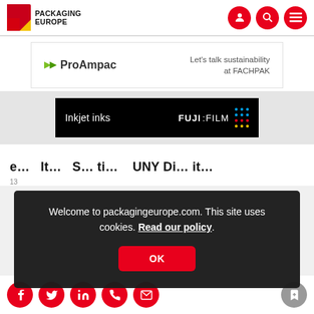Packaging Europe
[Figure (screenshot): ProAmpac advertisement banner: 'Let's talk sustainability at FACHPAK']
[Figure (screenshot): Fujifilm advertisement banner: 'Inkjet inks' with Fujifilm logo on black background]
e... lt... S... ti... UNY Di... it...
13
Welcome to packagingeurope.com. This site uses cookies. Read our policy.
OK